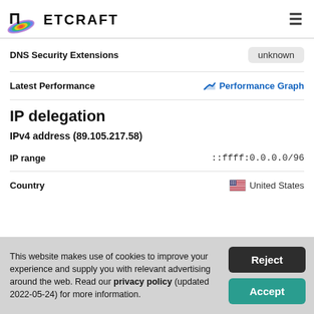Netcraft
| Field | Value |
| --- | --- |
| DNS Security Extensions | unknown |
| Latest Performance | Performance Graph |
IP delegation
IPv4 address (89.105.217.58)
| Field | Value |
| --- | --- |
| IP range | ::ffff:0.0.0.0/96 |
| Country | United States |
This website makes use of cookies to improve your experience and supply you with relevant advertising around the web. Read our privacy policy (updated 2022-05-24) for more information.